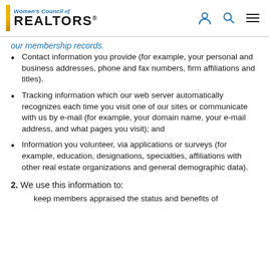Women's Council of REALTORS®
our membership records.
Contact information you provide (for example, your personal and business addresses, phone and fax numbers, firm affiliations and titles).
Tracking information which our web server automatically recognizes each time you visit one of our sites or communicate with us by e-mail (for example, your domain name, your e-mail address, and what pages you visit); and
Information you volunteer, via applications or surveys (for example, education, designations, specialties, affiliations with other real estate organizations and general demographic data).
2. We use this information to:
keep members appraised the status and benefits of